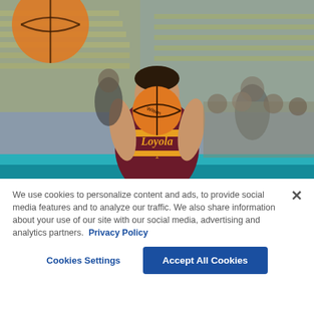[Figure (photo): A Loyola basketball player holding a Wilson basketball up to his face in shooting stance, wearing a maroon and gold Loyola jersey with number 1. Background shows an arena with yellow seats and other players/spectators. A large basketball is visible in the upper portion of the image.]
We use cookies to personalize content and ads, to provide social media features and to analyze our traffic. We also share information about your use of our site with our social media, advertising and analytics partners. Privacy Policy
Cookies Settings
Accept All Cookies